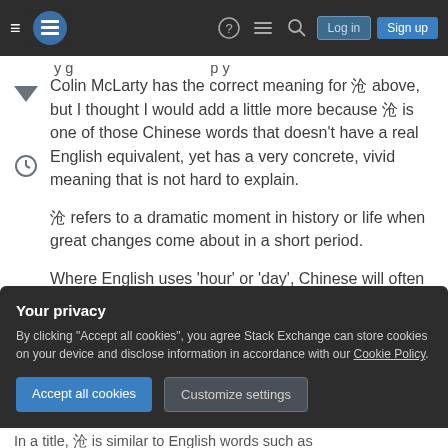Stack Exchange navigation bar with hamburger menu, logo, help, chat, search, Log in, Sign up buttons
Colin McLarty has the correct meaning for 时 above, but I thought I would add a little more because 时 is one of those Chinese words that doesn't have a real English equivalent, yet has a very concrete, vivid meaning that is not hard to explain.

时 refers to a dramatic moment in history or life when great changes come about in a short period.

Where English uses 'hour' or 'day', Chinese will often use 时. An example is 'man of the hour', often
Your privacy
By clicking "Accept all cookies", you agree Stack Exchange can store cookies on your device and disclose information in accordance with our Cookie Policy.
Accept all cookies   Customize settings
In a title, 时 is similar to English words such as